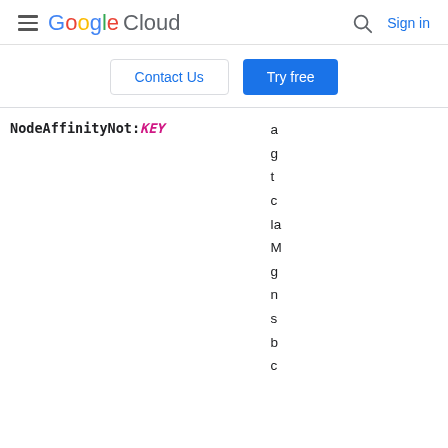Google Cloud  |  Search  |  Sign in
Contact Us  |  Try free
| Field | Required | Values/Description |
| --- | --- | --- |
| NodeAffinityNot:KEY |  | a g t c la M g n s b c |
| SoleTenancy-VmHostMaintenancePolicy | No. | migrate (default) or terminate

The migrate |